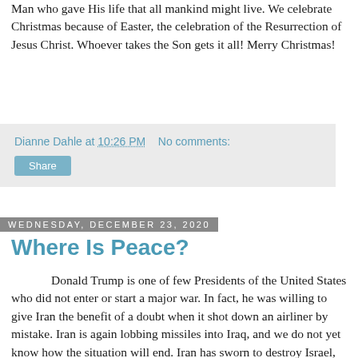Man who gave His life that all mankind might live. We celebrate Christmas because of Easter, the celebration of the Resurrection of Jesus Christ. Whoever takes the Son gets it all! Merry Christmas!
Dianne Dahle at 10:26 PM   No comments:
Share
Wednesday, December 23, 2020
Where Is Peace?
Donald Trump is one of few Presidents of the United States who did not enter or start a major war. In fact, he was willing to give Iran the benefit of a doubt when it shot down an airliner by mistake. Iran is again lobbing missiles into Iraq, and we do not yet know how the situation will end. Iran has sworn to destroy Israel, and numerous Arab nations have recognized that aligning with Israel against Iran is the better option.
Trump has not only kept the United States out of war, but he is also making history in working for peace in the Middle East.